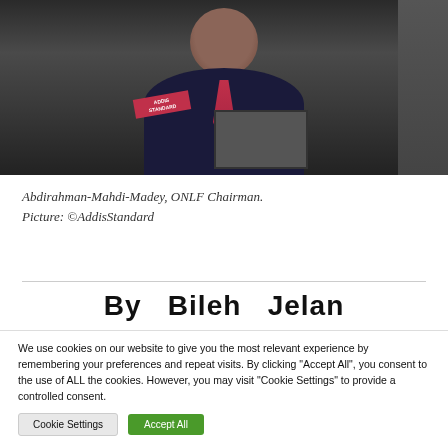[Figure (photo): Photo of Abdirahman-Mahdi-Madey, ONLF Chairman, wearing a dark suit with a red tie, speaking at a podium with a laptop, with an Addis Standard badge/press credential visible. Partial figure visible on the right edge.]
Abdirahman-Mahdi-Madey, ONLF Chairman. Picture: ©AddisStandard
By  Bileh  Jelan
We use cookies on our website to give you the most relevant experience by remembering your preferences and repeat visits. By clicking "Accept All", you consent to the use of ALL the cookies. However, you may visit "Cookie Settings" to provide a controlled consent.